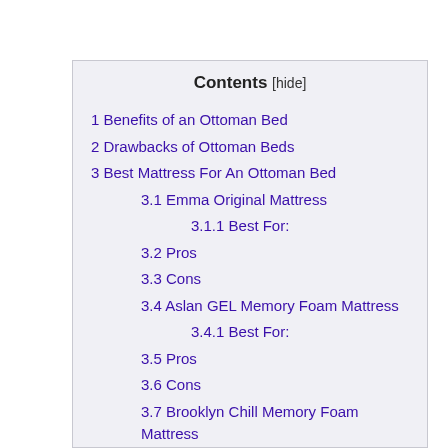Contents [hide]
1 Benefits of an Ottoman Bed
2 Drawbacks of Ottoman Beds
3 Best Mattress For An Ottoman Bed
3.1 Emma Original Mattress
3.1.1 Best For:
3.2 Pros
3.3 Cons
3.4 Aslan GEL Memory Foam Mattress
3.4.1 Best For:
3.5 Pros
3.6 Cons
3.7 Brooklyn Chill Memory Foam Mattress
3.7.1 Best For:
3.8 Pros
3.9 Cons
3.10 Vantage Sleep Mattress